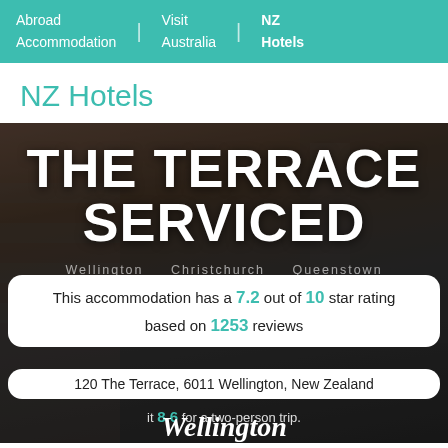Abroad Accommodation | Visit Australia | NZ Hotels
NZ Hotels
[Figure (photo): Hotel exterior photo with overlaid text 'THE TERRACE SERVICED', star rating icons, and information bubbles showing rating 7.2 out of 10 based on 1253 reviews, address 120 The Terrace, 6011 Wellington, New Zealand, score 8.6 for two-person trip, and Wellington text at bottom.]